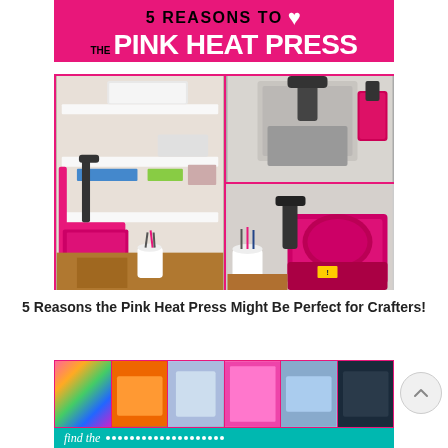[Figure (infographic): Promotional infographic with hot-pink banner reading '5 REASONS TO [heart] THE PINK HEAT PRESS' above a collage of photos showing pink heat press machines and a craft room setup with shelving.]
5 Reasons the Pink Heat Press Might Be Perfect for Crafters!
[Figure (infographic): A bottom banner showing a grid of colorful crafting material thumbnails above a teal bar with 'find the' text and dotted line, suggesting a link to find the best heat press.]